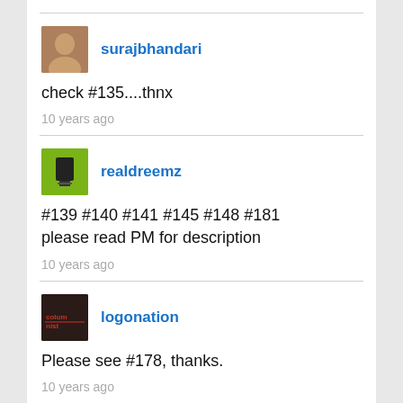surajbhandari
check #135....thnx
10 years ago
realdreemz
#139 #140 #141 #145 #148 #181 please read PM for description
10 years ago
logonation
Please see #178, thanks.
10 years ago